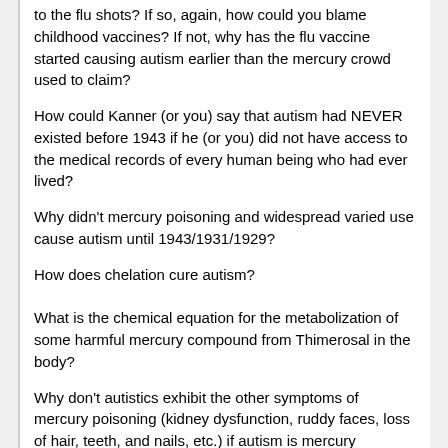to the flu shots? If so, again, how could you blame childhood vaccines? If not, why has the flu vaccine started causing autism earlier than the mercury crowd used to claim?
How could Kanner (or you) say that autism had NEVER existed before 1943 if he (or you) did not have access to the medical records of every human being who had ever lived?
Why didn't mercury poisoning and widespread varied use cause autism until 1943/1931/1929?
How does chelation cure autism?
What is the chemical equation for the metabolization of some harmful mercury compound from Thimerosal in the body?
Why don't autistics exhibit the other symptoms of mercury poisoning (kidney dysfunction, ruddy faces, loss of hair, teeth, and nails, etc.) if autism is mercury poisoning?
How does HBOT cause brain cells to re-grow?
What evidence is there that autism is the result of brain cells damaged by mercury?